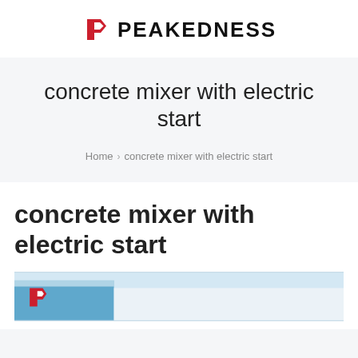PEAKEDNESS
concrete mixer with electric start
Home > concrete mixer with electric start
concrete mixer with electric start
[Figure (photo): Partial view of a concrete mixer machine with blue and white coloring, bottom of page]